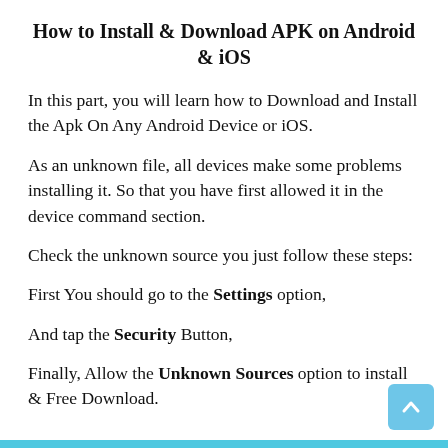How to Install & Download APK on Android & iOS
In this part, you will learn how to Download and Install the Apk On Any Android Device or iOS.
As an unknown file, all devices make some problems installing it. So that you have first allowed it in the device command section.
Check the unknown source you just follow these steps:
First You should go to the Settings option,
And tap the Security Button,
Finally, Allow the Unknown Sources option to install & Free Download.